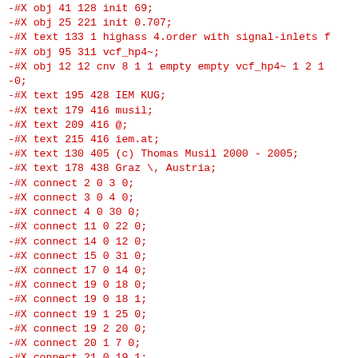-#X obj 41 128 init 69;
-#X obj 25 221 init 0.707;
-#X text 133 1 highass 4.order with signal-inlets f
-#X obj 95 311 vcf_hp4~;
-#X obj 12 12 cnv 8 1 1 empty empty vcf_hp4~ 1 2 1
-0;
-#X text 195 428 IEM KUG;
-#X text 179 416 musil;
-#X text 209 416 @;
-#X text 215 416 iem.at;
-#X text 130 405 (c) Thomas Musil 2000 - 2005;
-#X text 178 438 Graz \, Austria;
-#X connect 2 0 3 0;
-#X connect 3 0 4 0;
-#X connect 4 0 30 0;
-#X connect 11 0 22 0;
-#X connect 14 0 12 0;
-#X connect 15 0 31 0;
-#X connect 17 0 14 0;
-#X connect 19 0 18 0;
-#X connect 19 0 18 1;
-#X connect 19 1 25 0;
-#X connect 19 2 20 0;
-#X connect 20 1 7 0;
-#X connect 21 0 19 1;
-#X connect 22 0 36 0;
-#X connect 22 1 9 0;
-#X connect 23 0 11 0;
-#X connect 28 0 36 1;
-#X connect 29 0 36 2;